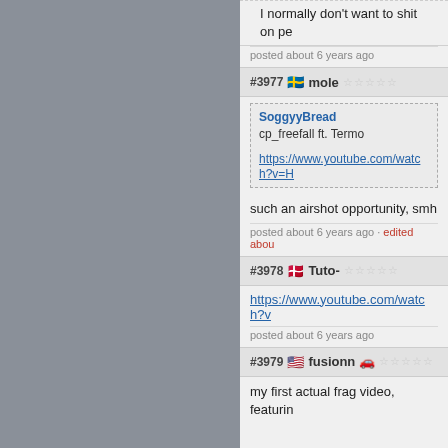I normally don't want to shit on pe…
posted about 6 years ago
#3977 🇸🇪 mole ☆☆☆☆☆
SoggyyBread
cp_freefall ft. Termo
https://www.youtube.com/watch?v=H…
such an airshot opportunity, smh
posted about 6 years ago · edited abou…
#3978 🇩🇰 Tuto- ☆☆☆☆☆
https://www.youtube.com/watch?v=…
posted about 6 years ago
#3979 🇺🇸 fusionn 🚗☆☆☆☆☆
my first actual frag video, featurin…